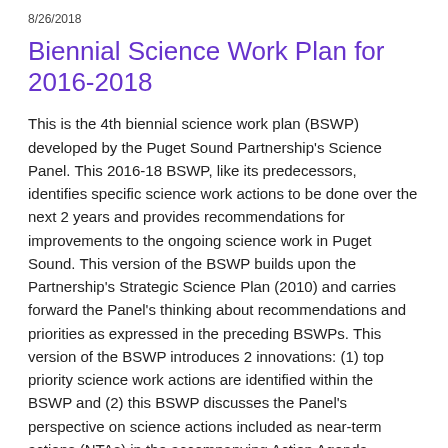8/26/2018
Biennial Science Work Plan for 2016-2018
This is the 4th biennial science work plan (BSWP) developed by the Puget Sound Partnership's Science Panel. This 2016-18 BSWP, like its predecessors, identifies specific science work actions to be done over the next 2 years and provides recommendations for improvements to the ongoing science work in Puget Sound. This version of the BSWP builds upon the Partnership's Strategic Science Plan (2010) and carries forward the Panel's thinking about recommendations and priorities as expressed in the preceding BSWPs. This version of the BSWP introduces 2 innovations: (1) top priority science work actions are identified within the BSWP and (2) this BSWP discusses the Panel's perspective on science actions included as near-term actions (NTAs) in the accompanying Action Agenda.